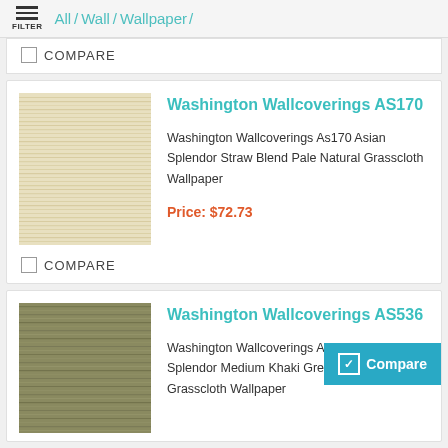All / Wall / Wallpaper /
COMPARE
[Figure (photo): Pale natural grasscloth wallpaper texture, light beige/straw color with horizontal weave lines]
Washington Wallcoverings AS170
Washington Wallcoverings As170 Asian Splendor Straw Blend Pale Natural Grasscloth Wallpaper
Price: $72.73
COMPARE
[Figure (photo): Medium khaki green natural grasscloth wallpaper texture with horizontal weave pattern]
Washington Wallcoverings AS536
Washington Wallcoverings As536 Asian Splendor Medium Khaki Green Blend Natural Grasscloth Wallpaper